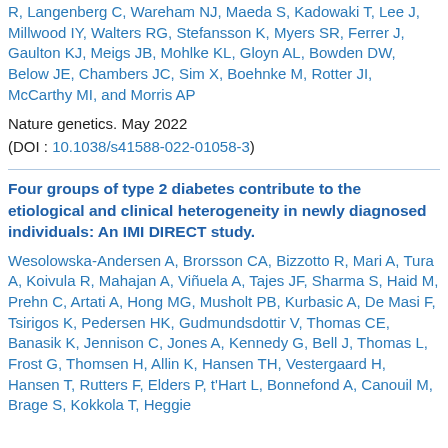R, Langenberg C, Wareham NJ, Maeda S, Kadowaki T, Lee J, Millwood IY, Walters RG, Stefansson K, Myers SR, Ferrer J, Gaulton KJ, Meigs JB, Mohlke KL, Gloyn AL, Bowden DW, Below JE, Chambers JC, Sim X, Boehnke M, Rotter JI, McCarthy MI, and Morris AP
Nature genetics. May 2022
(DOI : 10.1038/s41588-022-01058-3)
Four groups of type 2 diabetes contribute to the etiological and clinical heterogeneity in newly diagnosed individuals: An IMI DIRECT study.
Wesolowska-Andersen A, Brorsson CA, Bizzotto R, Mari A, Tura A, Koivula R, Mahajan A, Viñuela A, Tajes JF, Sharma S, Haid M, Prehn C, Artati A, Hong MG, Musholt PB, Kurbasic A, De Masi F, Tsirigos K, Pedersen HK, Gudmundsdottir V, Thomas CE, Banasik K, Jennison C, Jones A, Kennedy G, Bell J, Thomas L, Frost G, Thomsen H, Allin K, Hansen TH, Vestergaard H, Hansen T, Rutters F, Elders P, t'Hart L, Bonnefond A, Canouil M, Brage S, Kokkola T, Heggie